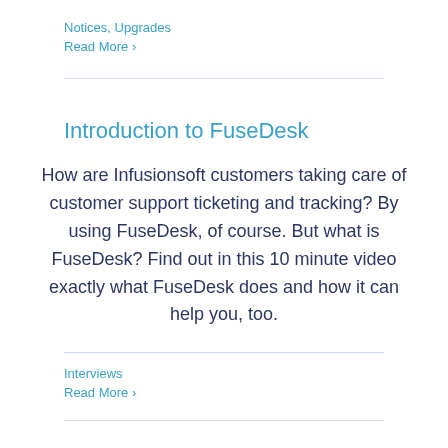Notices, Upgrades
Read More >
Introduction to FuseDesk
How are Infusionsoft customers taking care of customer support ticketing and tracking? By using FuseDesk, of course. But what is FuseDesk? Find out in this 10 minute video exactly what FuseDesk does and how it can help you, too.
Interviews
Read More >